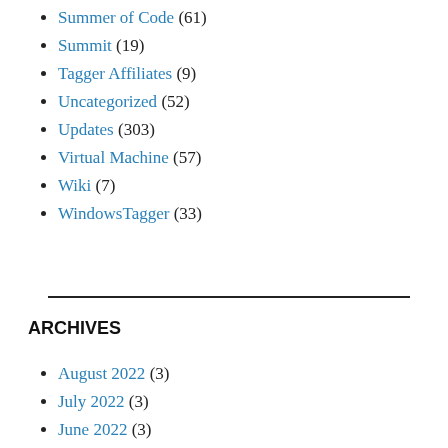Summer of Code (61)
Summit (19)
Tagger Affiliates (9)
Uncategorized (52)
Updates (303)
Virtual Machine (57)
Wiki (7)
WindowsTagger (33)
ARCHIVES
August 2022 (3)
July 2022 (3)
June 2022 (3)